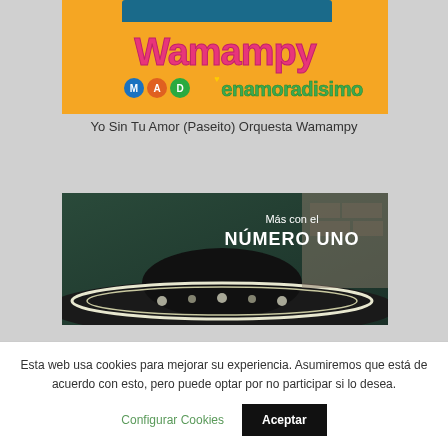[Figure (illustration): Album art for Orquesta Wamampy 'Enamoradisimo' with colorful orange background, pink stylized text 'Wamampy', colored circle badges with letters M, A, D, and text 'enamoradisimo' in green]
Yo Sin Tu Amor (Paseito) Orquesta Wamampy
[Figure (photo): Album cover showing a mariachi wearing a traditional sombrero with decorative embroidery, dark green/teal background, text 'Más con el NÚMERO UNO' in white]
Esta web usa cookies para mejorar su experiencia. Asumiremos que está de acuerdo con esto, pero puede optar por no participar si lo desea.
Configurar Cookies
Aceptar